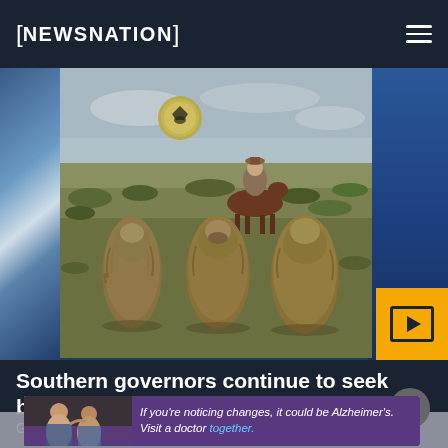NEWSNATION
[Figure (photo): Hero image showing three people wearing ghillie suits (camouflage) standing in a desert landscape, with a person on horseback in the background. A law enforcement badge/seal is visible in the upper portion of the photo. Blue panels on left and right sides. Orange play button in bottom right corner.]
Southern governors continue to seek border solutions
Governors of states such as Texas and Arizona continue to seek solutions for migra...
[Figure (photo): Advertisement banner showing two men (one older, one middle-aged) with text: If you're noticing changes, it could be Alzheimer's. Visit a doctor together.]